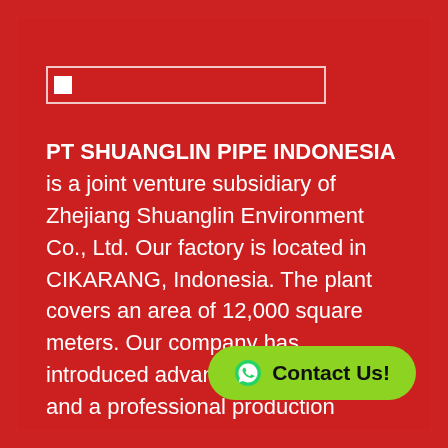[Figure (logo): Company logo placeholder image with white border box]
PT SHUANGLIN PIPE INDONESIA is a joint venture subsidiary of Zhejiang Shuanglin Environment Co., Ltd. Our factory is located in CIKARANG, Indonesia. The plant covers an area of 12,000 square meters. Our company has introduced advanced production line and a professional production management team. The company mainly produces municipal and residential building water supply and drainage, sewage pipes and complete sets of systems. The includes HDPE/PP double-wall corrugated
[Figure (other): Green rounded button with WhatsApp icon and text 'Contact Us!']